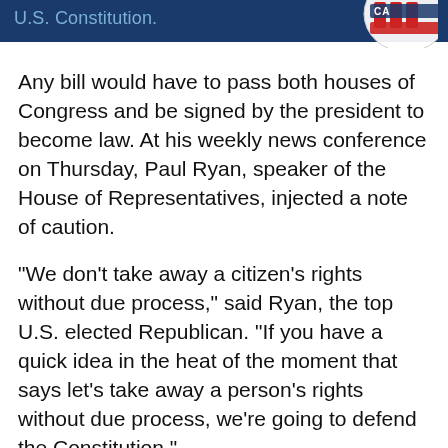U.S. Constitution.
[Figure (logo): Red, white and blue circular stamp/seal graphic partially visible in top right corner]
Any bill would have to pass both houses of Congress and be signed by the president to become law. At his weekly news conference on Thursday, Paul Ryan, speaker of the House of Representatives, injected a note of caution.
"We don't take away a citizen's rights without due process," said Ryan, the top U.S. elected Republican. "If you have a quick idea in the heat of the moment that says let's take away a person's rights without due process, we're going to defend the Constitution."
Mass Shootings
A string of mass shootings across the United